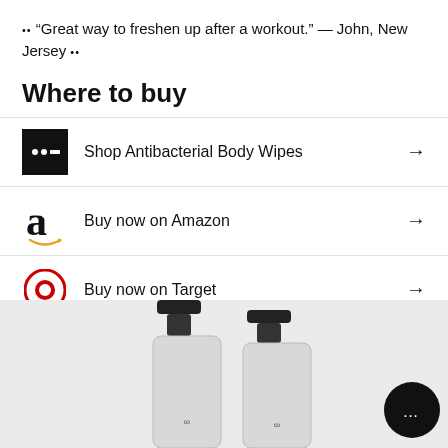•• "Great way to freshen up after a workout." — John, New Jersey ••
Where to buy
Shop Antibacterial Body Wipes →
Buy now on Amazon →
Buy now on Target →
[Figure (photo): Two pump bottles of product with black caps on a light gray background, with a chat bubble icon in the bottom right.]